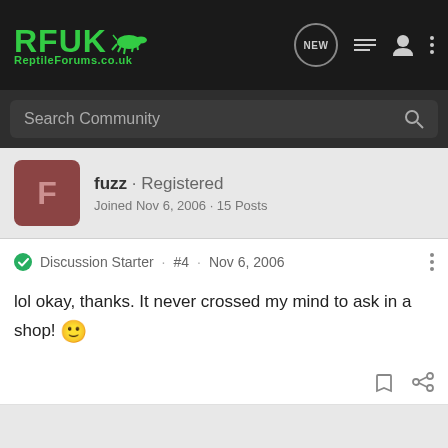RFUK ReptileForums.co.uk - Navigation bar with search
fuzz · Registered
Joined Nov 6, 2006 · 15 Posts
Discussion Starter · #4 · Nov 6, 2006
lol okay, thanks. It never crossed my mind to ask in a shop! 🙂